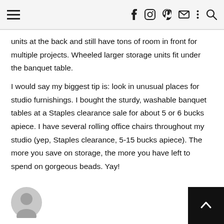Navigation bar with hamburger menu and social icons (f, Instagram, Pinterest, email, more, search)
units at the back and still have tons of room in front for multiple projects. Wheeled larger storage units fit under the banquet table.
I would say my biggest tip is: look in unusual places for studio furnishings. I bought the sturdy, washable banquet tables at a Staples clearance sale for about 5 or 6 bucks apiece. I have several rolling office chairs throughout my studio (yep, Staples clearance, 5-15 bucks apiece). The more you save on storage, the more you have left to spend on gorgeous beads. Yay!
[Figure (illustration): User avatar/profile icon (grey silhouette circle)]